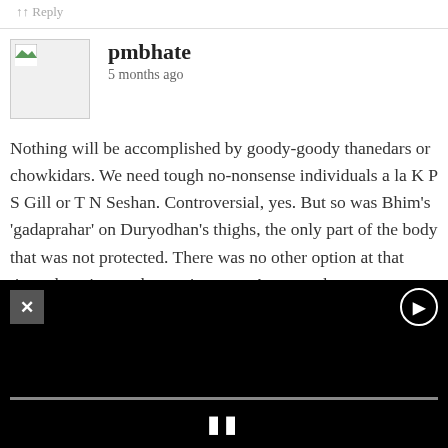↑↑ Reply
pmbhate
5 months ago
Nothing will be accomplished by goody-goody thanedars or chowkidars. We need tough no-nonsense individuals a la K P S Gill or T N Seshan. Controversial, yes. But so was Bhim’s ‘gadaprahar’ on Duryodhan’s thighs, the only part of the body that was not protected. There was no other option at that time, there is no other option now. A severe thrashing and lining the cheek of even one financially benefited by what happened on the ground at the time of his/her arrest will give pause to many a terrorists and their handlers.
[Figure (screenshot): Black video player overlay with close (X) button on top-left, settings icon on top-right, a progress bar, and a pause (II) button in the center bottom area.]